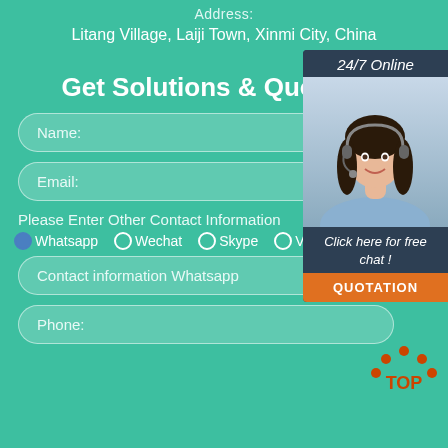Address:
Litang Village, Laiji Town, Xinmi City, China
Get Solutions & Quotation
Name:
Email:
Please Enter Other Contact Information
Whatsapp  Wechat  Skype  Viber
Contact information Whatsapp
Phone:
[Figure (photo): Customer service representative with headset, 24/7 Online widget with 'Click here for free chat!' text and QUOTATION button]